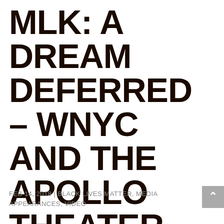MLK: A DREAM DEFERRED – WNYC AND THE APOLLO THEATER
FEB 14, 2018 | BLACK LIVES MATTER, MEDIA APPEARANCES, VIDEO
Through a lively mix of one-on-one interviews and panels featuring notable guests – including civil rights leader and former attorney and advisor to Dr. King, Dr.